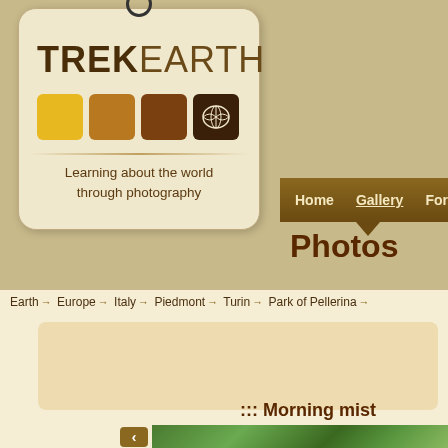[Figure (logo): TrekEarth logo tag with colored squares and world map icon, tagline: Learning about the world through photography]
Home   Gallery   Forums   C...
Photos
Earth → Europe → Italy → Piedmont → Turin → Park of Pellerina →
::: Morning mist